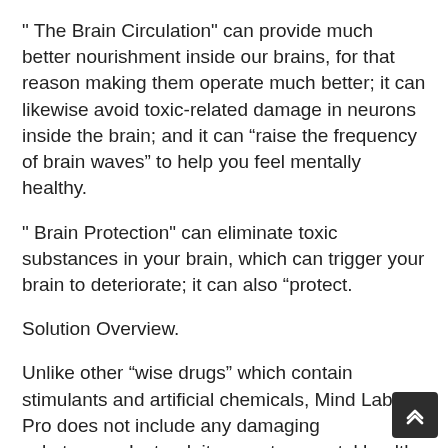" The Brain Circulation" can provide much better nourishment inside our brains, for that reason making them operate much better; it can likewise avoid toxic-related damage in neurons inside the brain; and it can “raise the frequency of brain waves” to help you feel mentally healthy.
" Brain Protection" can eliminate toxic substances in your brain, which can trigger your brain to deteriorate; it can also “protect.
Solution Overview.
Unlike other “wise drugs” which contain stimulants and artificial chemicals, Mind Lab Pro does not include any damaging substances. Instead, it promotes mental health by enhancing memory and attention and by increasing brain energy with these ingredients: